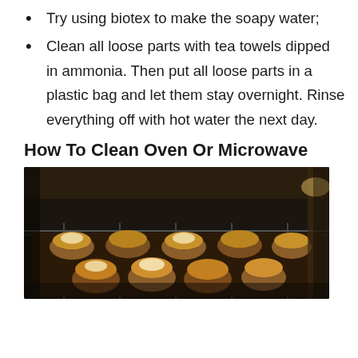Try using biotex to make the soapy water;
Clean all loose parts with tea towels dipped in ammonia. Then put all loose parts in a plastic bag and let them stay overnight. Rinse everything off with hot water the next day.
How To Clean Oven Or Microwave
[Figure (photo): A photograph of muffins or pies baking inside an oven on a metal rack, viewed through the open oven door, dark oven interior visible.]